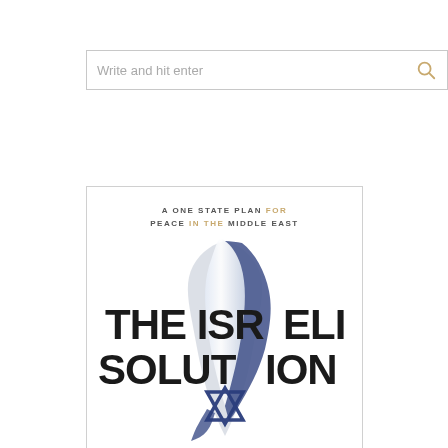[Figure (screenshot): Search bar with placeholder text 'Write and hit enter' and a tan/gold search icon on the right]
[Figure (illustration): Book cover for 'The Israeli Solution: A One State Plan for Peace in the Middle East'. Features large bold black text on white background with a stylized map of Israel/Palestine showing Israeli flag colors (blue and white) and a Star of David.]